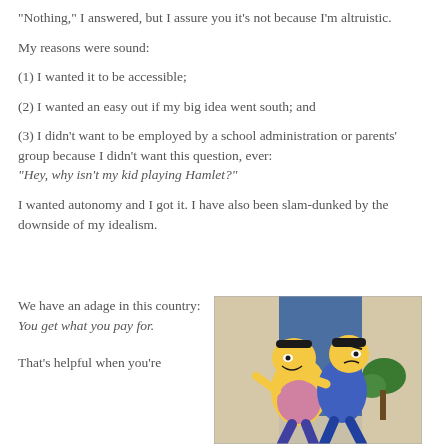"Nothing," I answered, but I assure you it's not because I'm altruistic.
My reasons were sound:
(1) I wanted it to be accessible;
(2) I wanted an easy out if my big idea went south; and
(3) I didn't want to be employed by a school administration or parents' group because I didn't want this question, ever: "Hey, why isn't my kid playing Hamlet?"
I wanted autonomy and I got it. I have also been slam-dunked by the downside of my idealism.
We have an adage in this country: You get what you pay for.
[Figure (photo): A cartoon image showing two Simpsons-style characters in a confrontational pose, one grabbing the other.]
That's helpful when you're